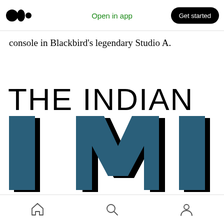[Figure (screenshot): Medium app top navigation bar with logo, 'Open in app' link in green, and 'Get started' black pill button]
console in Blackbird's legendary Studio A.
[Figure (logo): The Indian IMI logo — large text 'THE INDIAN' in black serif uppercase and 'IMI' in large dark blue/teal bold letters with black shadow effect]
[Figure (screenshot): Mobile app bottom navigation bar with home, search, and profile icons]